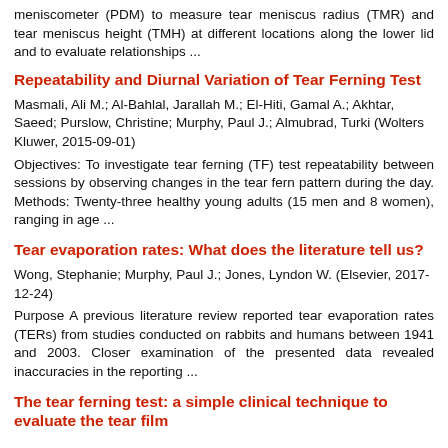meniscometer (PDM) to measure tear meniscus radius (TMR) and tear meniscus height (TMH) at different locations along the lower lid and to evaluate relationships ...
Repeatability and Diurnal Variation of Tear Ferning Test
Masmali, Ali M.; Al-Bahlal, Jarallah M.; El-Hiti, Gamal A.; Akhtar, Saeed; Purslow, Christine; Murphy, Paul J.; Almubrad, Turki (Wolters Kluwer, 2015-09-01)
Objectives: To investigate tear ferning (TF) test repeatability between sessions by observing changes in the tear fern pattern during the day. Methods: Twenty-three healthy young adults (15 men and 8 women), ranging in age ...
Tear evaporation rates: What does the literature tell us?
Wong, Stephanie; Murphy, Paul J.; Jones, Lyndon W. (Elsevier, 2017-12-24)
Purpose A previous literature review reported tear evaporation rates (TERs) from studies conducted on rabbits and humans between 1941 and 2003. Closer examination of the presented data revealed inaccuracies in the reporting ...
The tear ferning test: a simple clinical technique to evaluate the tear film